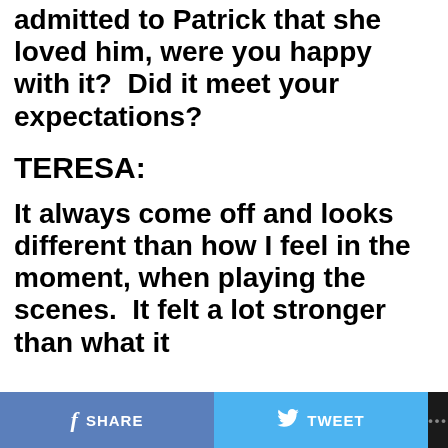admitted to Patrick that she loved him, were you happy with it?  Did it meet your expectations?
TERESA:
It always come off and looks different than how I feel in the moment, when playing the scenes.  It felt a lot stronger than what it
SHARE   TWEET   ...